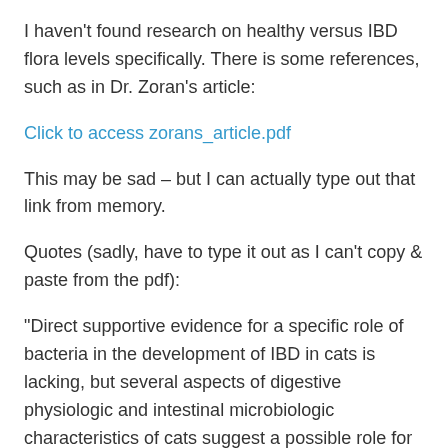I haven't found research on healthy versus IBD flora levels specifically. There is some references, such as in Dr. Zoran's article:
Click to access zorans_article.pdf
This may be sad – but I can actually type out that link from memory.
Quotes (sadly, have to type it out as I can't copy & paste from the pdf):
“Direct supportive evidence for a specific role of bacteria in the development of IBD in cats is lacking, but several aspects of digestive physiologic and intestinal microbiologic characteristics of cats suggest a possible role for bacteria in the disease.”